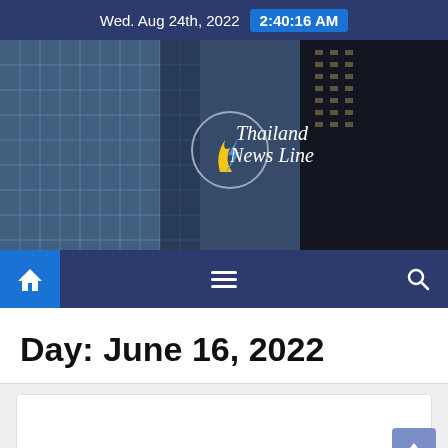Wed. Aug 24th, 2022  2:40:16 AM
[Figure (screenshot): Thailand News Line website banner showing skyscraper buildings with the Thailand News Line logo (a flame and lightning bolt in a circle) and site name in italic text on a dark overlay background.]
[Figure (screenshot): Navigation bar with home icon (highlighted blue), hamburger menu icon in center, and search icon on right, on dark blue background.]
Day: June 16, 2022
[Figure (screenshot): Gray content area with a white article card partially visible at the bottom, and a blue back-to-top arrow button in the lower right corner.]